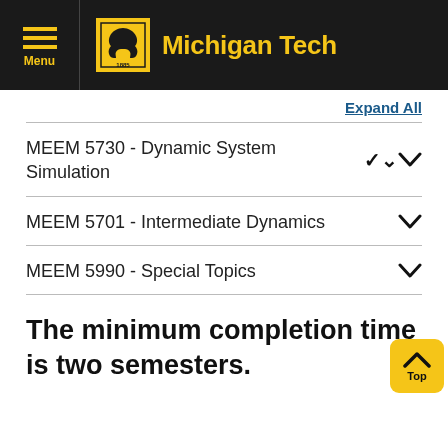Michigan Tech
Expand All
MEEM 5730 - Dynamic System Simulation
MEEM 5701 - Intermediate Dynamics
MEEM 5990 - Special Topics
The minimum completion time is two semesters.